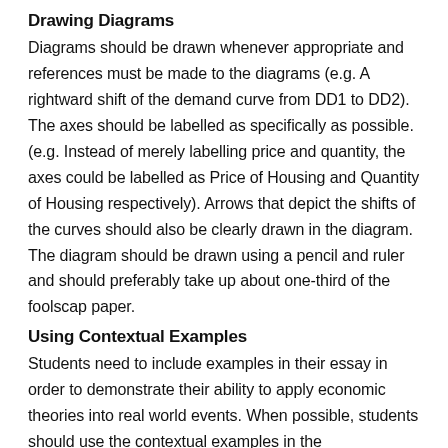Drawing Diagrams
Diagrams should be drawn whenever appropriate and references must be made to the diagrams (e.g. A rightward shift of the demand curve from DD1 to DD2). The axes should be labelled as specifically as possible. (e.g. Instead of merely labelling price and quantity, the axes could be labelled as Price of Housing and Quantity of Housing respectively). Arrows that depict the shifts of the curves should also be clearly drawn in the diagram. The diagram should be drawn using a pencil and ruler and should preferably take up about one-third of the foolscap paper.
Using Contextual Examples
Students need to include examples in their essay in order to demonstrate their ability to apply economic theories into real world events. When possible, students should use the contextual examples in the